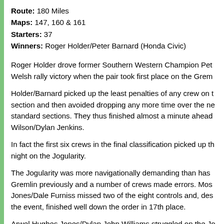Route: 180 Miles
Maps: 147, 160 & 161
Starters: 37
Winners: Roger Holder/Peter Barnard (Honda Civic)
Roger Holder drove former Southern Western Champion Pet Welsh rally victory when the pair took first place on the Grem
Holder/Barnard picked up the least penalties of any crew on t section and then avoided dropping any more time over the ne standard sections. They thus finished almost a minute ahead Wilson/Dylan Jenkins.
In fact the first six crews in the final classification picked up th night on the Jogularity.
The Jogularity was more navigationally demanding than has Gremlin previously and a number of crews made errors. Mos Jones/Dale Furniss missed two of the eight controls and, des the event, finished well down the order in 17th place.
Arwel Hughes Jones/Dylan John Williams struggled on the Jo with a slipping clutch, they finished in eighth place.